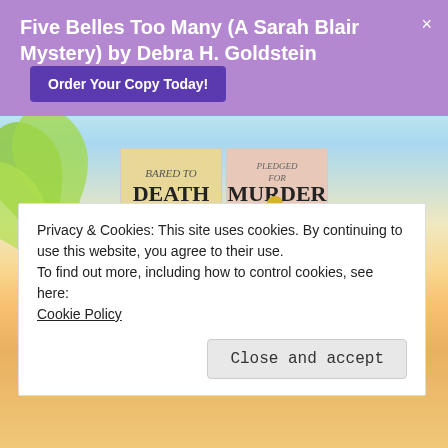Five Belles Too Many (A Sarah Blair Mystery) by Debra H. Goldstein
[Figure (screenshot): Purple promotional banner with book title and 'Order Your Copy Today!' button]
[Figure (photo): Two book covers: 'Bared to Death' and 'Pledged for Murder' by Victoria Tait, with beach background and palm leaves]
Coming November 4, 2022
[Figure (other): Red banner reading 'A Dotty Sayers Antique Mystery']
Privacy & Cookies: This site uses cookies. By continuing to use this website, you agree to their use.
To find out more, including how to control cookies, see here:
Cookie Policy
Close and accept